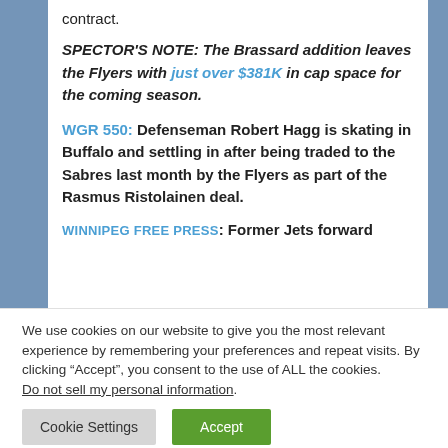contract.
SPECTOR'S NOTE: The Brassard addition leaves the Flyers with just over $381K in cap space for the coming season.
WGR 550: Defenseman Robert Hagg is skating in Buffalo and settling in after being traded to the Sabres last month by the Flyers as part of the Rasmus Ristolainen deal.
WINNIPEG FREE PRESS: Former Jets forward
We use cookies on our website to give you the most relevant experience by remembering your preferences and repeat visits. By clicking “Accept”, you consent to the use of ALL the cookies. Do not sell my personal information.
Cookie Settings | Accept